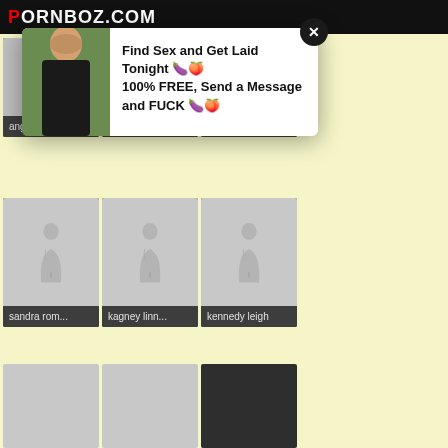PORNBOZ.COM
[Figure (screenshot): Popup ad overlay showing a photo of a woman and text: Find Sex and Get Laid Tonight 100% FREE, Send a Message and FUCK]
[Figure (photo): Thumbnail placeholder silhouette - angel wicky]
angel wicky
[Figure (photo): Thumbnail placeholder silhouette - dava foxx]
dava foxx
[Figure (photo): Thumbnail placeholder silhouette - alex blake]
alex blake
[Figure (photo): Thumbnail placeholder silhouette - sandra rom...]
sandra rom...
[Figure (photo): Thumbnail placeholder silhouette - kagney linn...]
kagney linn...
[Figure (photo): Thumbnail placeholder silhouette - kennedy leigh]
kennedy leigh